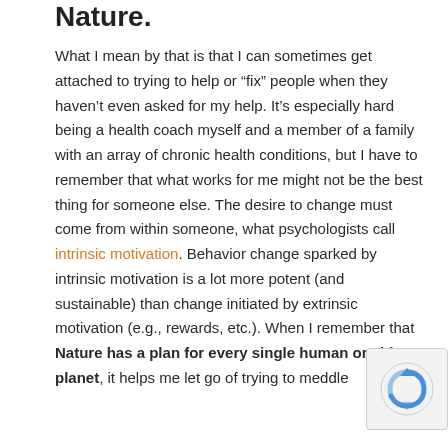Nature.
What I mean by that is that I can sometimes get attached to trying to help or “fix” people when they haven’t even asked for my help. It’s especially hard being a health coach myself and a member of a family with an array of chronic health conditions, but I have to remember that what works for me might not be the best thing for someone else. The desire to change must come from within someone, what psychologists call intrinsic motivation. Behavior change sparked by intrinsic motivation is a lot more potent (and sustainable) than change initiated by extrinsic motivation (e.g., rewards, etc.). When I remember that Nature has a plan for every single human on this planet, it helps me let go of trying to meddle